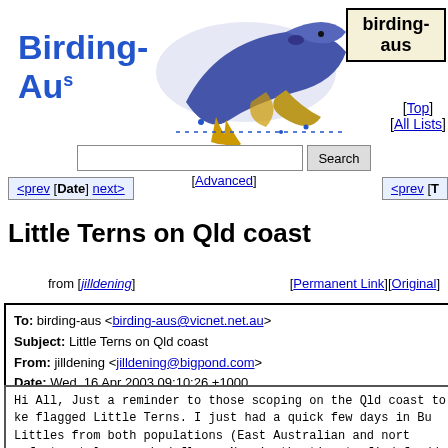[Figure (logo): Birding-Aus logo with blue bird illustration and superscript s]
[Figure (logo): birding-aus box logo with yellow background]
[Top] [All Lists]
Search [Advanced]
<prev [Date] next>   <prev [T
Little Terns on Qld coast
from [jilldening]   [Permanent Link][Original]
| To: | birding-aus <birding-aus@vicnet.net.au> |
| Subject: | Little Terns on Qld coast |
| From: | jilldening <jilldening@bigpond.com> |
| Date: | Wed, 16 Apr 2003 09:10:26 +1000 |
Hi All,

Just a reminder to those scoping on the Qld coast to ke flagged Little Terns. I just had a quick few days in Bu Littles from both populations (East Australian and nort unfortunately none had flags. Now is the time to find f add to our understanding of where the threatened popula breeding. Take care to get the sequence of colours, and a metal band on one of the legs.